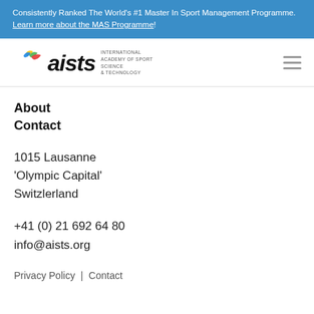Consistently Ranked The World's #1 Master In Sport Management Programme. Learn more about the MAS Programme!
[Figure (logo): AISTS logo: stylized italic 'aists' wordmark with Olympic rings-style ribbon graphic, and text 'International Academy of Sport Science & Technology']
About
Contact
1015 Lausanne
'Olympic Capital'
Switzlerland
+41 (0) 21 692 64 80
info@aists.org
Privacy Policy | Contact